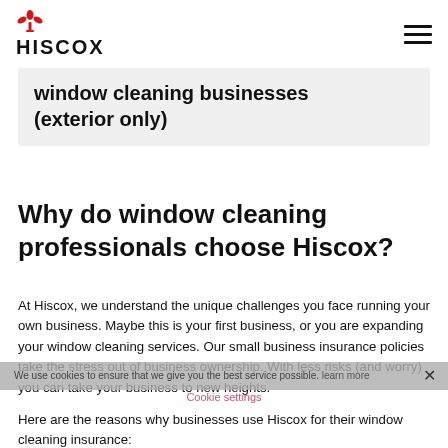HISCOX
window cleaning businesses (exterior only)
Why do window cleaning professionals choose Hiscox?
At Hiscox, we understand the unique challenges you face running your own business. Maybe this is your first business, or you are expanding your window cleaning services. Our small business insurance policies take the stress out of business ownership. With less risks (and worry) you can take your business to new heights.
Here are the reasons why businesses use Hiscox for their window cleaning insurance: